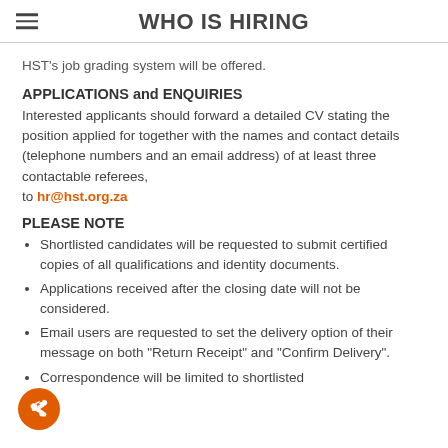WHO IS HIRING
HST's job grading system will be offered.
APPLICATIONS and ENQUIRIES
Interested applicants should forward a detailed CV stating the position applied for together with the names and contact details (telephone numbers and an email address) of at least three contactable referees, to hr@hst.org.za
PLEASE NOTE
Shortlisted candidates will be requested to submit certified copies of all qualifications and identity documents.
Applications received after the closing date will not be considered.
Email users are requested to set the delivery option of their message on both "Return Receipt" and "Confirm Delivery".
Correspondence will be limited to shortlisted